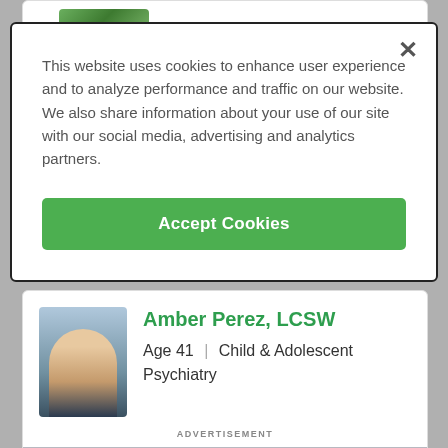[Figure (screenshot): Cookie consent modal dialog overlaying a healthcare provider listing page. Modal has white background, dark border, close X button, cookie policy text, and green Accept Cookies button.]
This website uses cookies to enhance user experience and to analyze performance and traffic on our website. We also share information about your use of our site with our social media, advertising and analytics partners.
Accept Cookies
Amber Perez, LCSW
Age 41 | Child & Adolescent Psychiatry
ADVERTISEMENT
5-star doctors really do exist.
Find Yours Today